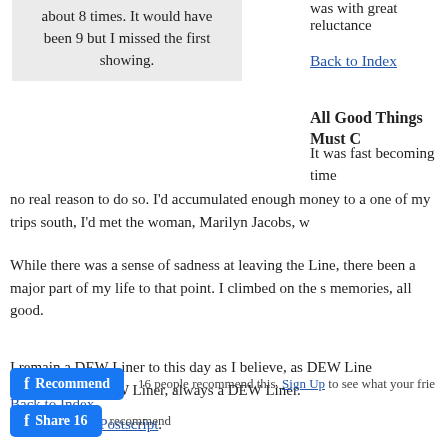about 8 times. It would have been 9 but I missed the first showing.
was with great reluctance
Back to Index
All Good Things Must C
It was fast becoming time no real reason to do so. I'd accumulated enough money to a one of my trips south, I'd met the woman, Marilyn Jacobs, w
While there was a sense of sadness at leaving the Line, there been a major part of my life to that point. I climbed on the s memories, all good.
I remain a DEW Liner to this day as I believe, as DEW Line Liner. Once a DEW Liner, always a DEW Liner.
Back to Index
On now to the Postscript.
16 people recommend this. Sign Up to see what your frie recommend